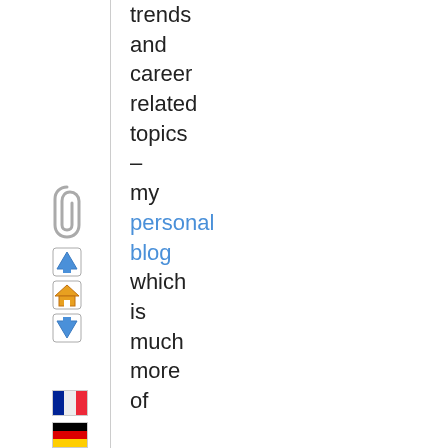trends and career related topics – my personal blog which is much more of a personal journal about my life, dogs, mtb,
[Figure (illustration): Sidebar with paperclip icon, navigation icons (up arrow, home, down arrow), and four country flag icons (France, Germany, Spain, Italy)]